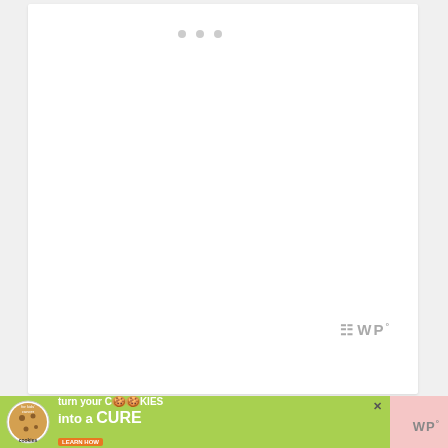[Figure (screenshot): White card area with three small grey dots at top center and a watermark logo (stylized WP) at bottom right]
Notes
If you use frozen blueberries, make sure they are
[Figure (screenshot): Advertisement banner: cookies for kids cancer - turn your COOKIES into a CURE LEARN HOW]
[Figure (logo): WP° watermark logo bottom right of bottom bar]